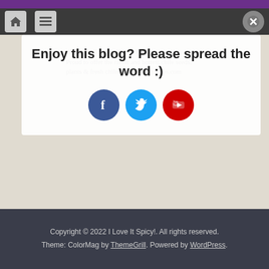Enjoy this blog? Please spread the word :)
[Figure (logo): Social sharing icons: Facebook (blue circle), Twitter (cyan circle), YouTube (red circle)]
[Figure (logo): BigDawg Salsa Shack logo - red background with bulldog firefighter mascot, 'SALSA' and 'SHACK' in yellow letters, address: 708 E. California St., Gainesville, Texas 76240]
Copyright © 2022 I Love It Spicy!. All rights reserved. Theme: ColorMag by ThemeGrill. Powered by WordPress.